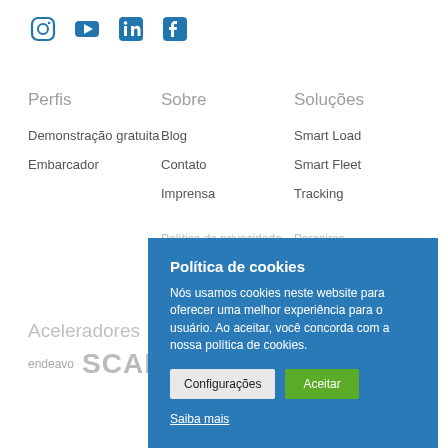[Figure (infographic): Row of social media icons: Instagram, YouTube, LinkedIn, Facebook in blue]
Perfis
Sobre
Soluções
Demonstração gratuita
Embarcador
Blog
Contato
Imprensa
Política de privacidade
Smart Load
Smart Fleet
Tracking
Parceiros
Aceleradores
[Figure (logo): Endeavor and SCALE A logos]
Política de cookies
Nós usamos cookies neste website para oferecer uma melhor experiência para o usuário. Ao aceitar, você concorda com a nossa política de cookies.
Configurações   Aceitar
Saiba mais